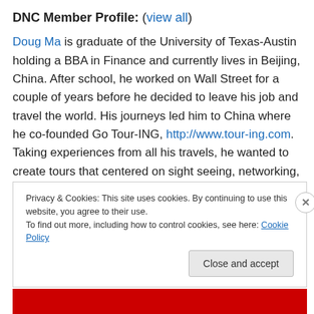DNC Member Profile: (view all)
Doug Ma is graduate of the University of Texas-Austin holding a BBA in Finance and currently lives in Beijing, China. After school, he worked on Wall Street for a couple of years before he decided to leave his job and travel the world. His journeys led him to China where he co-founded Go Tour-ING, http://www.tour-ing.com. Taking experiences from all his travels, he wanted to create tours that centered on sight seeing, networking, and partying for travelers aged 21-35. Besides traveling, Doug enjoys
Privacy & Cookies: This site uses cookies. By continuing to use this website, you agree to their use.
To find out more, including how to control cookies, see here: Cookie Policy
Close and accept